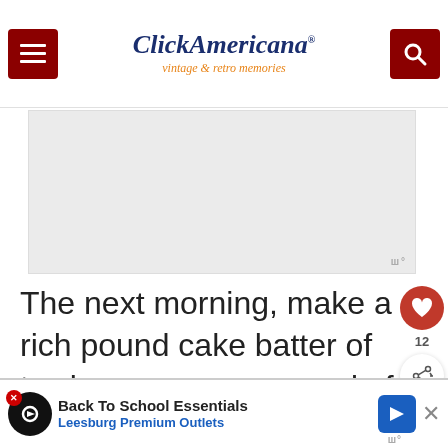Click Americana — vintage & retro memories
[Figure (other): Advertisement placeholder image area with Mediavine logo watermark]
The next morning, make a rich pound cake batter of twelve eggs, one pound of sugar, one pound of brown flour, one pound of butter, two tablespoonsful of lard, one teaspoonful each of spice, nutmeg, and...
[Figure (other): WHAT'S NEXT panel: circular thumbnail image and text '20 old-fashioned...']
[Figure (other): Bottom advertisement banner: Back To School Essentials — Leesburg Premium Outlets]